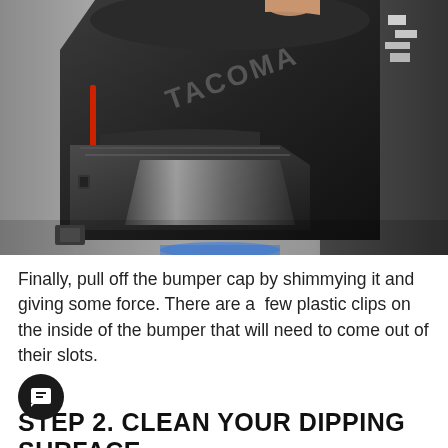[Figure (photo): Close-up photo of a ski boot bumper cap being removed, showing a black plastic ski boot component with TACOMA branding visible, and a hand pulling at the top. A blue light is visible at the bottom.]
Finally, pull off the bumper cap by shimmying it and giving some force. There are a  few plastic clips on the inside of the bumper that will need to come out of their slots.
STEP 2. CLEAN YOUR DIPPING SURFACE